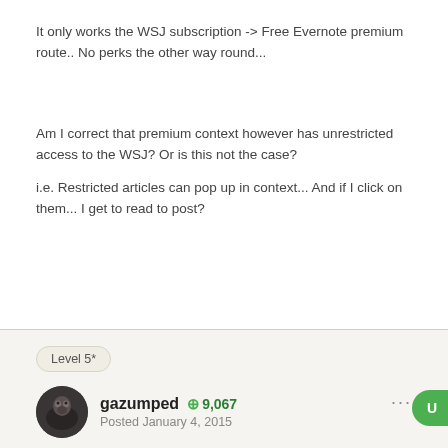It only works the WSJ subscription -> Free Evernote premium route.. No perks the other way round...
Am I correct that premium context however has unrestricted access to the WSJ? Or is this not the case?
i.e. Restricted articles can pop up in context... And if I click on them... I get to read to post?
Level 5*
gazumped  9,067
Posted January 4, 2015
Check it out for yourself - my experience is that I need a WSJ subscription to see any context from there... and as I'm in the UK it's